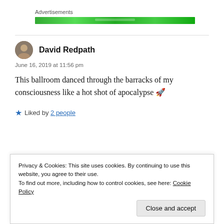Advertisements
[Figure (other): Green advertisement banner]
David Redpath
June 16, 2019 at 11:56 pm
This ballroom danced through the barracks of my consciousness like a hot shot of apocalypse 🚀
★ Liked by 2 people
Privacy & Cookies: This site uses cookies. By continuing to use this website, you agree to their use.
To find out more, including how to control cookies, see here: Cookie Policy
Close and accept